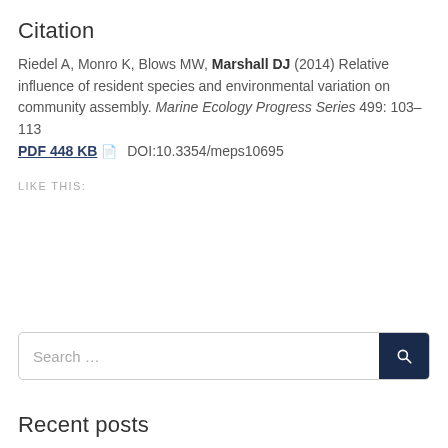Citation
Riedel A, Monro K, Blows MW, Marshall DJ (2014) Relative influence of resident species and environmental variation on community assembly. Marine Ecology Progress Series 499: 103–113 PDF 448 KB  DOI:10.3354/meps10695
LIKE THIS:
Search …
Recent posts